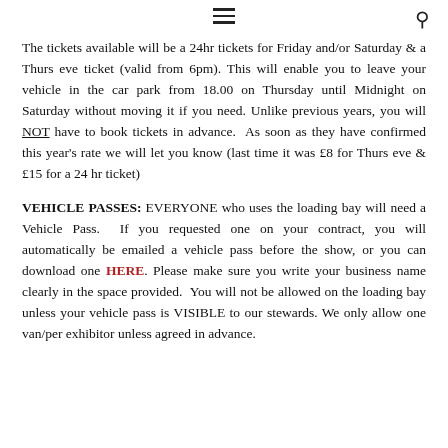≡  🔍
The tickets available will be a 24hr tickets for Friday and/or Saturday & a Thurs eve ticket (valid from 6pm). This will enable you to leave your vehicle in the car park from 18.00 on Thursday until Midnight on Saturday without moving it if you need. Unlike previous years, you will NOT have to book tickets in advance.  As soon as they have confirmed this year's rate we will let you know (last time it was £8 for Thurs eve & £15 for a 24 hr ticket)
VEHICLE PASSES: EVERYONE who uses the loading bay will need a Vehicle Pass.  If you requested one on your contract, you will automatically be emailed a vehicle pass before the show, or you can download one HERE. Please make sure you write your business name clearly in the space provided.  You will not be allowed on the loading bay unless your vehicle pass is VISIBLE to our stewards. We only allow one van/per exhibitor unless agreed in advance.